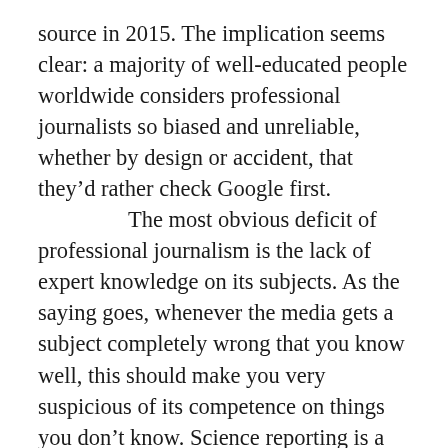source in 2015. The implication seems clear: a majority of well-educated people worldwide considers professional journalists so biased and unreliable, whether by design or accident, that they'd rather check Google first. The most obvious deficit of professional journalism is the lack of expert knowledge on its subjects. As the saying goes, whenever the media gets a subject completely wrong that you know well, this should make you very suspicious of its competence on things you don't know. Science reporting is a notorious hype factory, and while the hype originates with academic PR departments, most journalists just lap it up credulously – and then add some more hype of their own.